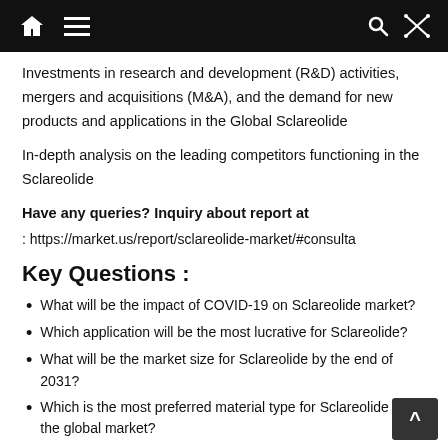[Navigation bar with home, menu, search, shuffle icons]
Investments in research and development (R&D) activities, mergers and acquisitions (M&A), and the demand for new products and applications in the Global Sclareolide
In-depth analysis on the leading competitors functioning in the Sclareolide
Have any queries? Inquiry about report at
: https://market.us/report/sclareolide-market/#consulta
Key Questions :
What will be the impact of COVID-19 on Sclareolide market?
Which application will be the most lucrative for Sclareolide?
What will be the market size for Sclareolide by the end of 2031?
Which is the most preferred material type for Sclareolide in the global market?